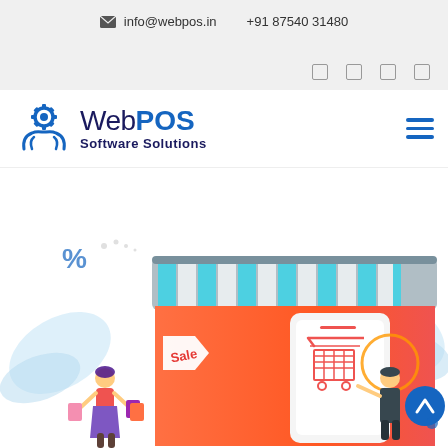info@webpos.in   +91 87540 31480
[Figure (logo): WebPOS Software Solutions logo with gear and hands icon in blue]
[Figure (illustration): E-commerce store illustration with shopping cart, sale tag, shopping people, and a person interacting with a point-of-sale display]